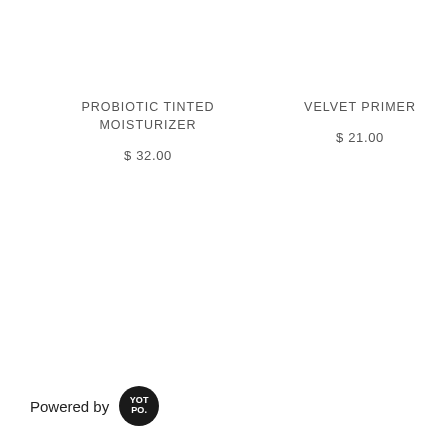PROBIOTIC TINTED MOISTURIZER
$ 32.00
VELVET PRIMER
$ 21.00
Powered by YOTPO.